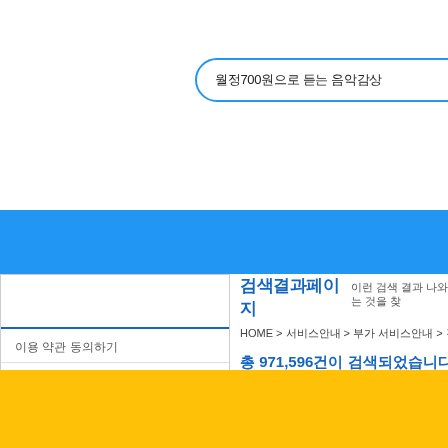월정700원으로 듣는 음악감상
검색결과
HOME > 서비스안내 > 부가 서비스안내 > 검색결과페이지
총 971,596건이 검색되었습니다. 원하는 곡 을 클릭
이용 약관 동의하기
멜론회원★ 무료 이용이에요!
최신 음악무료MP3 다운받기
마이뮤직0원 ★ 음악감상하기
멜론스토어★멜론스토어
나는어때요 ★ MBTI음악추천
이 검색 결과 더 보러 가기